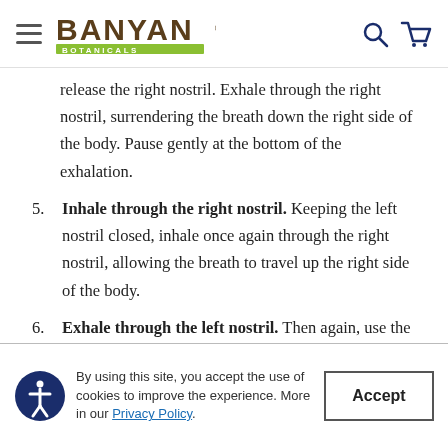Banyan Botanicals
release the right nostril. Exhale through the right nostril, surrendering the breath down the right side of the body. Pause gently at the bottom of the exhalation.
5. Inhale through the right nostril. Keeping the left nostril closed, inhale once again through the right nostril, allowing the breath to travel up the right side of the body.
6. Exhale through the left nostril. Then again, use the right thumb to close the right nostril as
By using this site, you accept the use of cookies to improve the experience. More in our Privacy Policy.